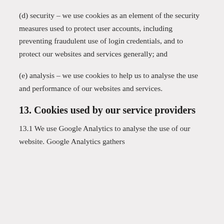(d) security – we use cookies as an element of the security measures used to protect user accounts, including preventing fraudulent use of login credentials, and to protect our websites and services generally; and
(e) analysis – we use cookies to help us to analyse the use and performance of our websites and services.
13. Cookies used by our service providers
13.1 We use Google Analytics to analyse the use of our website. Google Analytics gathers